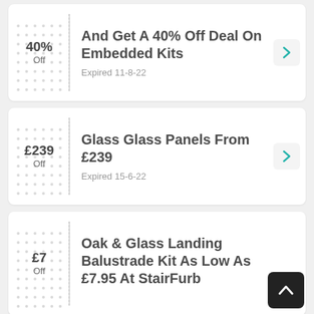[Figure (infographic): Coupon card: 40% Off deal on Embedded Kits from StairFurb, expired 11-8-22]
And Get A 40% Off Deal On Embedded Kits
Expired 11-8-22
[Figure (infographic): Coupon card: Glass Glass Panels From £239, expired 15-6-22]
Glass Glass Panels From £239
Expired 15-6-22
[Figure (infographic): Coupon card: Oak & Glass Landing Balustrade Kit As Low As £7.95 At StairFurb, £7 Off]
Oak & Glass Landing Balustrade Kit As Low As £7.95 At StairFurb